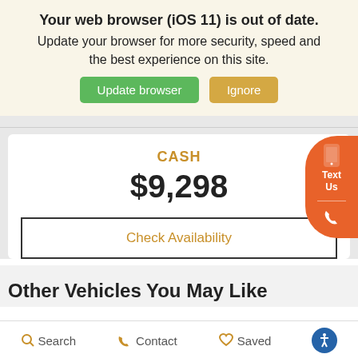Your web browser (iOS 11) is out of date.
Update your browser for more security, speed and the best experience on this site.
Update browser | Ignore
CASH
$9,298
Check Availability
Text Us
Other Vehicles You May Like
Search  Contact  Saved  (accessibility)